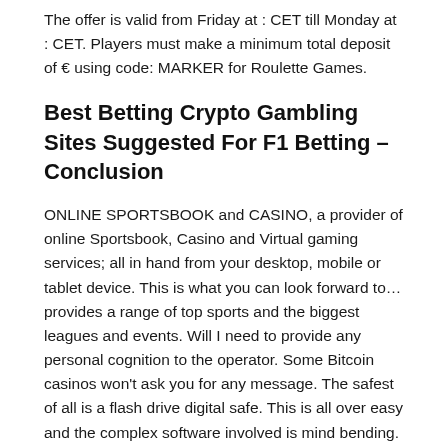The offer is valid from Friday at : CET till Monday at : CET. Players must make a minimum total deposit of € using code: MARKER for Roulette Games.
Best Betting Crypto Gambling Sites Suggested For F1 Betting – Conclusion
ONLINE SPORTSBOOK and CASINO, a provider of online Sportsbook, Casino and Virtual gaming services; all in hand from your desktop, mobile or tablet device. This is what you can look forward to… provides a range of top sports and the biggest leagues and events. Will I need to provide any personal cognition to the operator. Some Bitcoin casinos won't ask you for any message. The safest of all is a flash drive digital safe. This is all over easy and the complex software involved is mind bending. Will I need to provide any personal cognition to the operator.